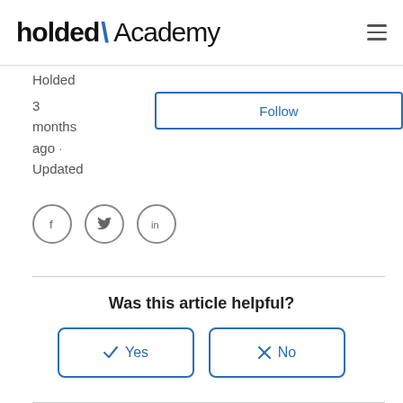holded \ Academy
Holded
3 months ago · Updated
[Figure (other): Follow button - blue outlined rectangle with 'Follow' text in blue]
[Figure (other): Social share icons: Facebook (f), Twitter (bird), LinkedIn (in) in grey circles]
Was this article helpful?
[Figure (other): Yes and No buttons with checkmark and X icons, blue outlined rounded rectangles]